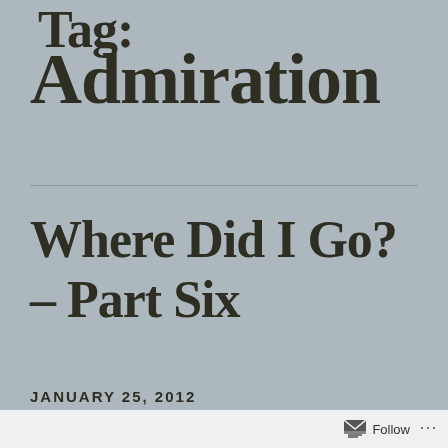Tag:
Admiration
Where Did I Go? – Part Six
JANUARY 25, 2012